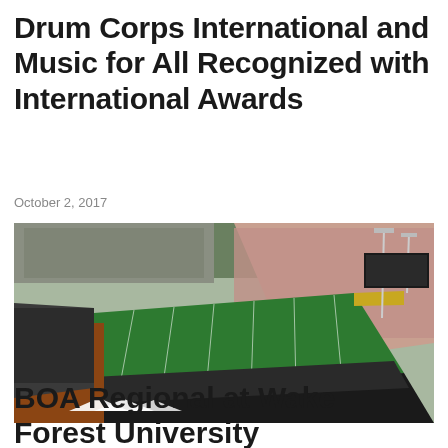Drum Corps International and Music for All Recognized with International Awards
October 2, 2017
[Figure (photo): Aerial view of a packed college football stadium (Wake Forest University stadium) with green field, stands full of spectators, surrounding parking lots and brick buildings visible.]
BOA Regional at Wake Forest University